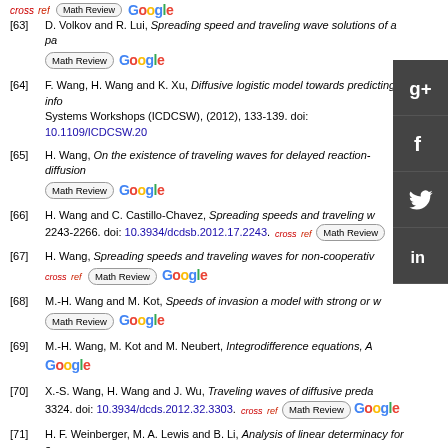[63] D. Volkov and R. Lui, Spreading speed and traveling wave solutions of a pa...
[64] F. Wang, H. Wang and K. Xu, Diffusive logistic model towards predicting info... Systems Workshops (ICDCSW), (2012), 133-139. doi: 10.1109/ICDCSW.20...
[65] H. Wang, On the existence of traveling waves for delayed reaction-diffusion...
[66] H. Wang and C. Castillo-Chavez, Spreading speeds and traveling w... 2243-2266. doi: 10.3934/dcdsb.2012.17.2243.
[67] H. Wang, Spreading speeds and traveling waves for non-cooperativ...
[68] M.-H. Wang and M. Kot, Speeds of invasion a model with strong or w...
[69] M.-H. Wang, M. Kot and M. Neubert, Integrodifference equations, A...
[70] X.-S. Wang, H. Wang and J. Wu, Traveling waves of diffusive preda... 3324. doi: 10.3934/dcds.2012.32.3303.
[71] H. F. Weinberger, M. A. Lewis and B. Li, Analysis of linear determinacy for s...
[72] H. F. Weinberger, M. A. Lewis and B. Li, Anomalous spreading speeds of co...